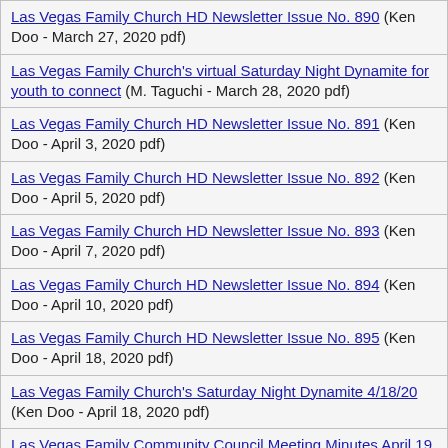Las Vegas Family Church HD Newsletter Issue No. 890 (Ken Doo - March 27, 2020 pdf)
Las Vegas Family Church's virtual Saturday Night Dynamite for youth to connect (M. Taguchi - March 28, 2020 pdf)
Las Vegas Family Church HD Newsletter Issue No. 891 (Ken Doo - April 3, 2020 pdf)
Las Vegas Family Church HD Newsletter Issue No. 892 (Ken Doo - April 5, 2020 pdf)
Las Vegas Family Church HD Newsletter Issue No. 893 (Ken Doo - April 7, 2020 pdf)
Las Vegas Family Church HD Newsletter Issue No. 894 (Ken Doo - April 10, 2020 pdf)
Las Vegas Family Church HD Newsletter Issue No. 895 (Ken Doo - April 18, 2020 pdf)
Las Vegas Family Church's Saturday Night Dynamite 4/18/20 (Ken Doo - April 18, 2020 pdf)
Las Vegas Family Community Council Meeting Minutes April 19 (Ken Doo - April 19, 2020 pdf)
Las Vegas Family Church HD Newsletter Issue No. 896 (Ken Doo - April 25, 2020 pdf)